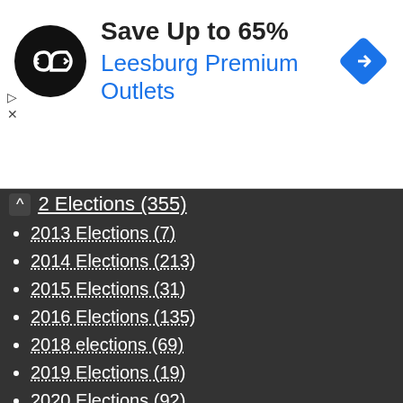[Figure (other): Advertisement banner: logo (black circle with double arrow icon), text 'Save Up to 65%' and 'Leesburg Premium Outlets' in blue, navigation diamond icon on the right. Ad controls (play and close) on the left.]
2 Elections (355)
2013 Elections (7)
2014 Elections (213)
2015 Elections (31)
2016 Elections (135)
2018 elections (69)
2019 Elections (19)
2020 Elections (92)
2021 Elections (4)
2022 Elections (52)
Accidents (438)
Adam Elmahrek (1)
Adam Nick (7)
Adam Probolsky (1)
Affordable Housing (44)
African Americans (47)
Air Quality (16)